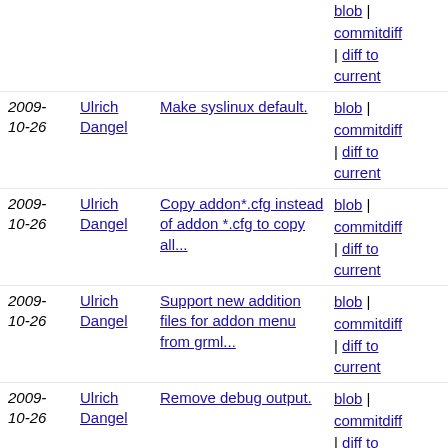2009-10-26 Ulrich Dangel | Make syslinux default. | blob | commitdiff | diff to current
2009-10-26 Ulrich Dangel | Copy addon*.cfg instead of addon *.cfg to copy all... | blob | commitdiff | diff to current
2009-10-26 Ulrich Dangel | Support new addition files for addon menu from grml... | blob | commitdiff | diff to current
2009-10-26 Ulrich Dangel | Remove debug output. | blob | commitdiff | diff to current
2009-10-24 Michael Prokop | Merge branch 'master' of ssh://git@git.grml.org/grml2usb | blob | commitdiff | diff to current
2009-10-24 Ulrich Dangel | Replace match for --remove-bootoption by space. | blob | commitdiff | diff to